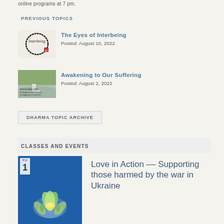online programs at 7 pm.
PREVIOUS TOPICS
The Eyes of Interbeing
Posted: August 10, 2022
Awakening to Our Suffering
Posted: August 2, 2022
DHARMA TOPIC ARCHIVE
CLASSES AND EVENTS
Love in Action -- Supporting those harmed by the war in Ukraine